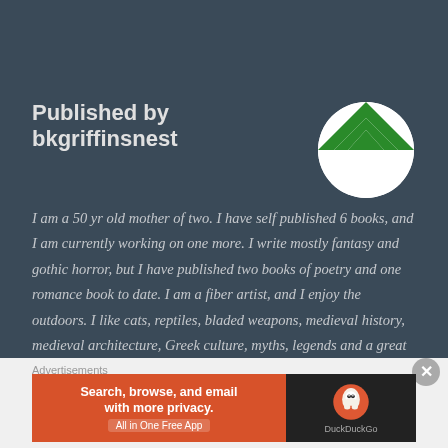Published by bkgriffinsnest
[Figure (logo): Green and white geometric diamond/triangle pattern circular avatar logo]
I am a 50 yr old mother of two. I have self published 6 books, and I am currently working on one more. I write mostly fantasy and gothic horror, but I have published two books of poetry and one romance book to date. I am a fiber artist, and I enjoy the outdoors. I like cats, reptiles, bladed weapons, medieval history, medieval architecture, Greek culture, myths, legends and a great deal more! I am a big reader, and I read all kinds of things fiction and non-. Ask me anything, and I may just answer.
Advertisements
[Figure (screenshot): DuckDuckGo advertisement banner: orange left panel with text 'Search, browse, and email with more privacy. All in One Free App', dark right panel with DuckDuckGo duck logo and brand name.]